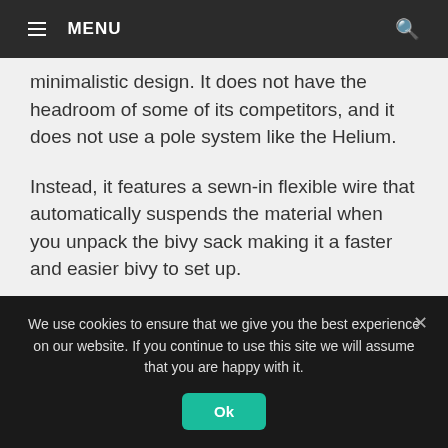≡ MENU
minimalistic design. It does not have the headroom of some of its competitors, and it does not use a pole system like the Helium.
Instead, it features a sewn-in flexible wire that automatically suspends the material when you unpack the bivy sack making it a faster and easier bivy to set up.
Made of the Todd-Tex waterproof and breathable
We use cookies to ensure that we give you the best experience on our website. If you continue to use this site we will assume that you are happy with it.